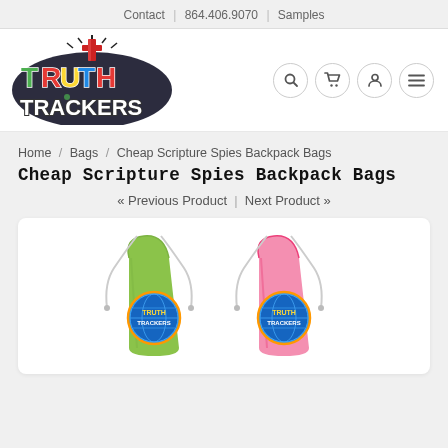Contact | 864.406.9070 | Samples
[Figure (logo): Truth Trackers logo with colorful cartoon lettering and a red cross]
Home / Bags / Cheap Scripture Spies Backpack Bags
Cheap Scripture Spies Backpack Bags
« Previous Product | Next Product »
[Figure (photo): Two drawstring backpack bags – one lime green and one pink – each printed with Truth Trackers logo]